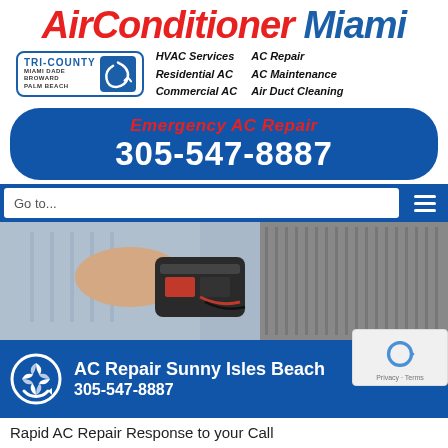AirConditioner Miami
[Figure (logo): Tri-County badge with Miami Dade, Broward, Palm Beach text and blue swoosh logo]
HVAC Services   AC Repair
Residential AC  AC Maintenance
Commercial AC   Air Duct Cleaning
Emergency AC Repair
305-547-8887
Go to...
[Figure (photo): HVAC technician working on an outdoor AC unit with tool bag]
AC Repair Sunny Isles Beach
305-547-8887
[Figure (logo): reCAPTCHA badge with Privacy and Terms links]
Rapid AC Repair Response to your Call